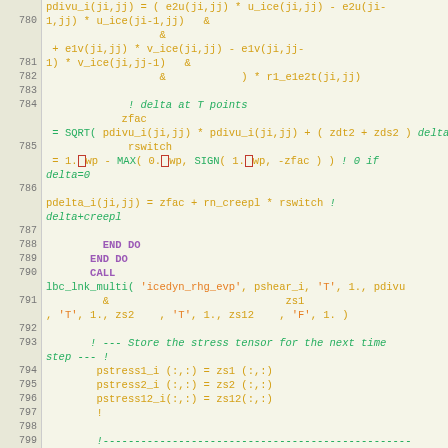[Figure (screenshot): Source code editor showing Fortran/Fortran-like code for ice dynamics computation, lines 780-799, with syntax highlighting: orange for variables/operators, green for functions and comments, purple for keywords like END DO and CALL.]